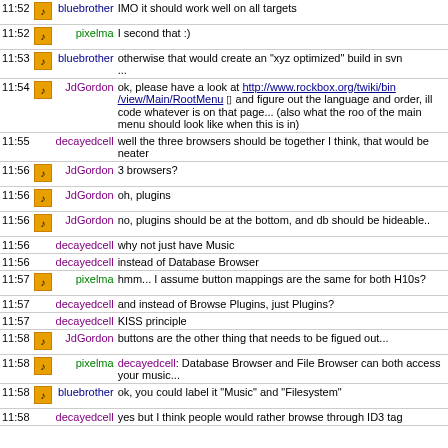| Time | Icon | Nick | Message |
| --- | --- | --- | --- |
| 11:52 | [icon] | bluebrother | IMO it should work well on all targets |
| 11:52 | [icon] | pixelma | I second that :) |
| 11:53 | [icon] | bluebrother | otherwise that would create an "xyz optimized" build in svn... |
| 11:54 | [icon] | JdGordon | ok, please have a look at http://www.rockbox.org/twiki/bin/view/Main/RootMenu and figure out the language and order, ill code whatever is on that page... (also what the root of the main menu should look like when this is in) |
| 11:55 |  | decayedcell | well the three browsers should be together I think, that would be neater |
| 11:56 | [icon] | JdGordon | 3 browsers? |
| 11:56 | [icon] | JdGordon | oh, plugins |
| 11:56 | [icon] | JdGordon | no, plugins should be at the bottom, and db should be hideable.. |
| 11:56 |  | decayedcell | why not just have Music |
| 11:56 |  | decayedcell | instead of Database Browser |
| 11:57 | [icon] | pixelma | hmm... I assume button mappings are the same for both H10s? |
| 11:57 |  | decayedcell | and instead of Browse Plugins, just Plugins? |
| 11:57 |  | decayedcell | KISS principle |
| 11:58 | [icon] | JdGordon | buttons are the other thing that needs to be figued out... |
| 11:58 | [icon] | pixelma | decayedcell: Database Browser and File Browser can both access your music... |
| 11:58 | [icon] | bluebrother | ok, you could label it "Music" and "Filesystem" |
| 11:58 |  | decayedcell | yes but I think people would rather browse through ID3 tag |